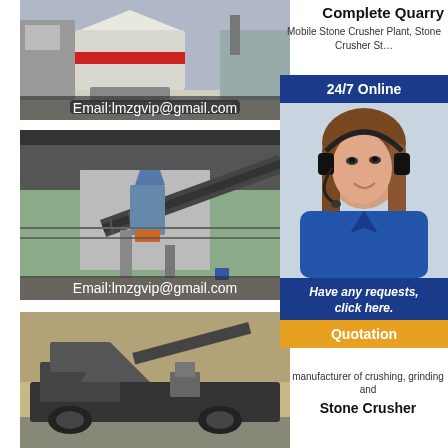[Figure (photo): Industrial stone crusher / quarry plant machinery with email overlay: Email:lmzgvip@gmail.com]
[Figure (photo): Stone crusher plant with conveyor belts and industrial equipment, with email overlay: Email:lmzgvip@gmail.com]
[Figure (photo): Mobile stone crusher plant outdoors]
Complete Quarry
Mobile Stone Crusher Plant, Stone Crusher St...
[Figure (infographic): 24/7 Online widget with photo of woman with headset, 'Have any requests, click here.' text and Quotation button]
manufacturer of crushing, grinding and
Stone Crusher